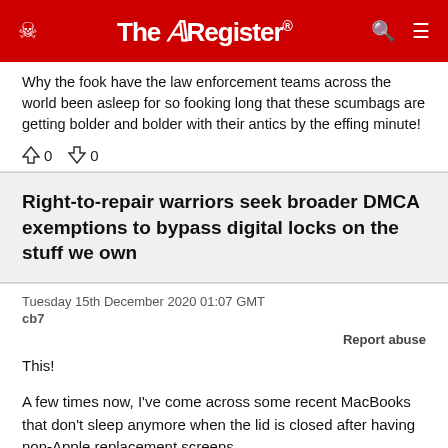The Register
Why the fook have the law enforcement teams across the world been asleep for so fooking long that these scumbags are getting bolder and bolder with their antics by the effing minute!
↑0  ↓0
Right-to-repair warriors seek broader DMCA exemptions to bypass digital locks on the stuff we own
Tuesday 15th December 2020 01:07 GMT
cb7
Report abuse
This!

A few times now, I've come across some recent MacBooks that don't sleep anymore when the lid is closed after having non-Apple replacement screens